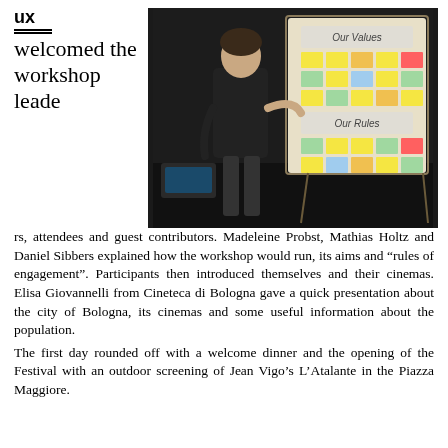ux
welcomed the workshop leaders, attendees and guest contributors. Madeleine Probst, Mathias Holtz and Daniel Sibbers explained how the workshop would run, its aims and “rules of engagement”. Participants then introduced themselves and their cinemas. Elisa Giovannelli from Cineteca di Bologna gave a quick presentation about the city of Bologna, its cinemas and some useful information about the population.
[Figure (photo): A person standing in front of a board covered with sticky notes, with sections labeled 'Our Values' and 'Our Rules'. The room appears to be a workshop or conference setting with a dark background.]
The first day rounded off with a welcome dinner and the opening of the Festival with an outdoor screening of Jean Vigo’s L’Atalante in the Piazza Maggiore.